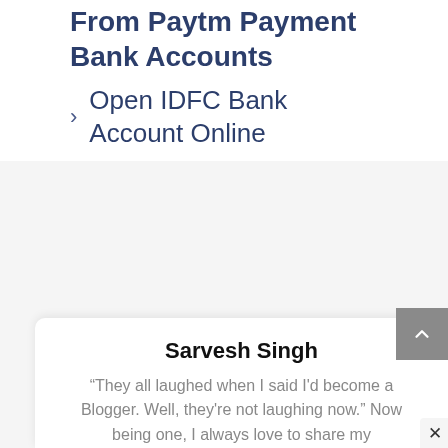From Paytm Payment Bank Accounts
Open IDFC Bank Account Online
Sarvesh Singh
"They all laughed when I said I'd become a Blogger. Well, they're not laughing now." Now being one, I always love to share my